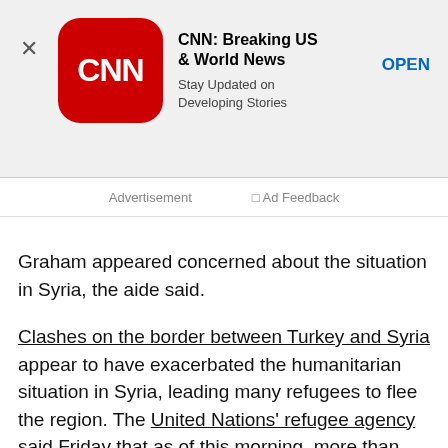[Figure (screenshot): CNN app advertisement banner with red rounded-square logo showing 'CNN' in white, app title 'CNN: Breaking US & World News', subtitle 'Stay Updated on Developing Stories', and an 'OPEN' button. An X close button is on the left.]
Advertisement   □ Ad Feedback
Graham appeared concerned about the situation in Syria, the aide said.
Clashes on the border between Turkey and Syria appear to have exacerbated the humanitarian situation in Syria, leading many refugees to flee the region. The United Nations' refugee agency said Friday that as of this morning, more than 1,000